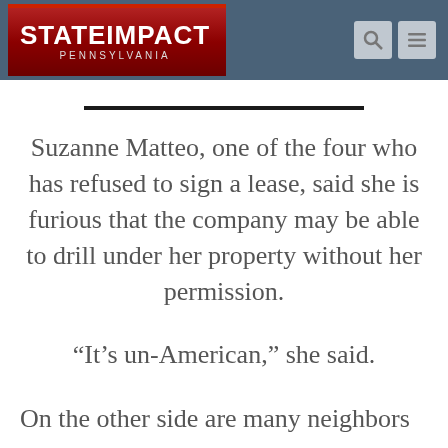StateImpact Pennsylvania
Suzanne Matteo, one of the four who has refused to sign a lease, said she is furious that the company may be able to drill under her property without her permission.
“It’s un-American,” she said.
On the other side are many neighbors